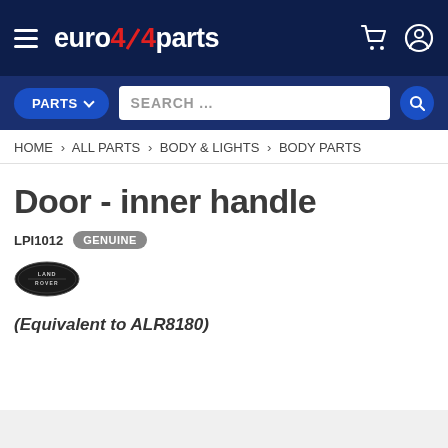euro4x4parts
PARTS | SEARCH ...
HOME > ALL PARTS > BODY & LIGHTS > BODY PARTS
Door - inner handle
LPI1012  GENUINE
[Figure (logo): Land Rover brand logo oval badge]
(Equivalent to ALR8180)